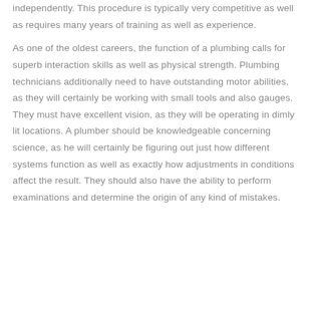independently. This procedure is typically very competitive as well as requires many years of training as well as experience.
As one of the oldest careers, the function of a plumbing calls for superb interaction skills as well as physical strength. Plumbing technicians additionally need to have outstanding motor abilities, as they will certainly be working with small tools and also gauges. They must have excellent vision, as they will be operating in dimly lit locations. A plumber should be knowledgeable concerning science, as he will certainly be figuring out just how different systems function as well as exactly how adjustments in conditions affect the result. They should also have the ability to perform examinations and determine the origin of any kind of mistakes.